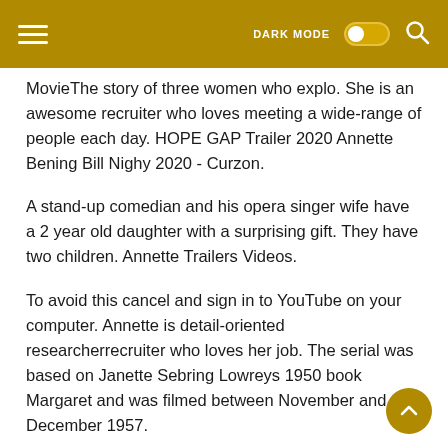DARK MODE [toggle] [search]
MovieThe story of three women who explo. She is an awesome recruiter who loves meeting a wide-range of people each day. HOPE GAP Trailer 2020 Annette Bening Bill Nighy 2020 - Curzon.
A stand-up comedian and his opera singer wife have a 2 year old daughter with a surprising gift. They have two children. Annette Trailers Videos.
To avoid this cancel and sign in to YouTube on your computer. Annette is detail-oriented researcherrecruiter who loves her job. The serial was based on Janette Sebring Lowreys 1950 book Margaret and was filmed between November and December 1957.
Annette Funicello gets her own serial on the third and final year of The Mickey Mouse Club. The film tells the